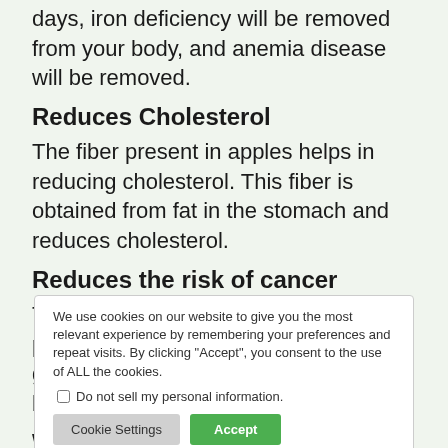days, iron deficiency will be removed from your body, and anemia disease will be removed.
Reduces Cholesterol
The fiber present in apples helps in reducing cholesterol. This fiber is obtained from fat in the stomach and reduces cholesterol.
Reduces the risk of cancer
The elements present in apples prevent stomach, breast cancer. These give the cells present in the person's body the strength to fight cancer.
White and healthy teeth
Apple cannot replace your brush, but chewing it and eating it gives whiteness to your teeth. By doing this, there are no bacteria in the mouth and there is no disease associated with them.